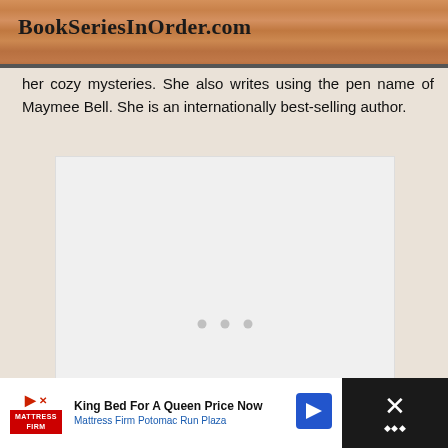BookSeriesInOrder.com
her cozy mysteries. She also writes using the pen name of Maymee Bell. She is an internationally best-selling author.
[Figure (other): White/light grey rectangular content placeholder box with three small grey dots centered inside]
[Figure (other): Advertisement banner: Mattress Firm ad reading 'King Bed For A Queen Price Now' and 'Mattress Firm Potomac Run Plaza' with arrow icon, and a close (X) button on the right side on a dark background]